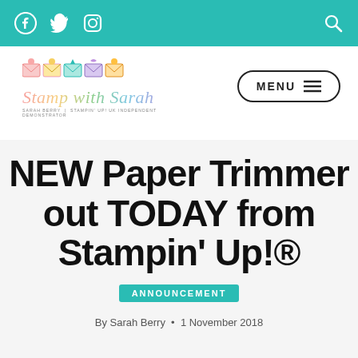Stamp with Sarah — social icons and menu navigation bar
[Figure (logo): Stamp with Sarah logo with colorful envelope icons and cursive text]
NEW Paper Trimmer out TODAY from Stampin' Up!®
ANNOUNCEMENT
By Sarah Berry • 1 November 2018